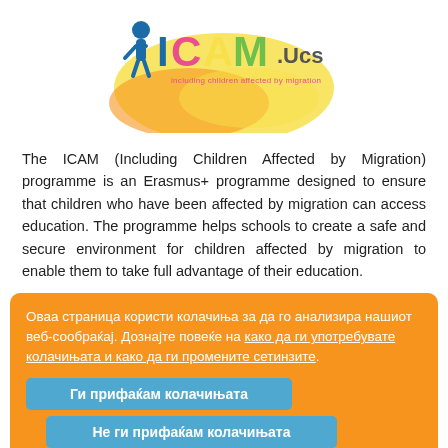[Figure (logo): ICAM.Ucs logo — stylized text with colourful letters and a child figure silhouette, with a yellow/orange paint splash background and tagline 'including children affected by migration']
The ICAM (Including Children Affected by Migration) programme is an Erasmus+ programme designed to ensure that children who have been affected by migration can access education. The programme helps schools to create a safe and secure environment for children affected by migration to enable them to take full advantage of their education.
Оваа страница користи колачиња за да го анализира нашиот веб-сообраќај. Дознајте повеќе на како да ги употребувате колачињата и како да ги промените сетинзите.
Ги прифаќам колачињата
Не ги прифаќам колачињата
Јазик: EN